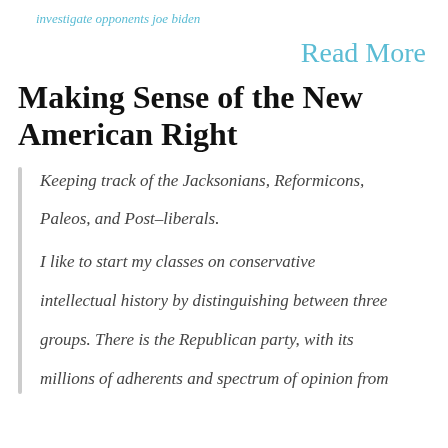investigate opponents joe biden
Read More
Making Sense of the New American Right
Keeping track of the Jacksonians, Reformicons, Paleos, and Post-liberals.
I like to start my classes on conservative intellectual history by distinguishing between three groups. There is the Republican party, with its millions of adherents and spectrum of opinion from